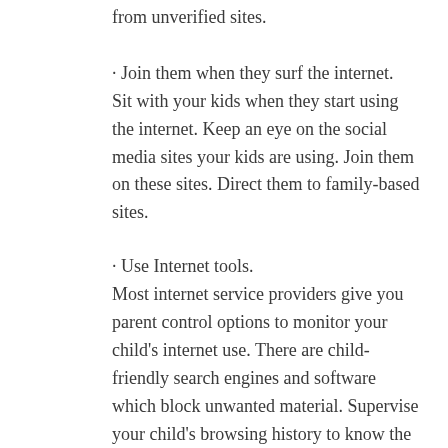from unverified sites.
· Join them when they surf the internet.
Sit with your kids when they start using the internet. Keep an eye on the social media sites your kids are using. Join them on these sites. Direct them to family-based sites.
· Use Internet tools.
Most internet service providers give you parent control options to monitor your child's internet use. There are child-friendly search engines and software which block unwanted material. Supervise your child's browsing history to know the sites they have been visiting.